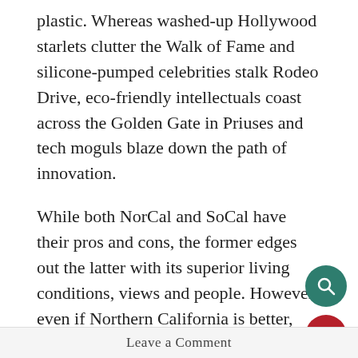plastic. Whereas washed-up Hollywood starlets clutter the Walk of Fame and silicone-pumped celebrities stalk Rodeo Drive, eco-friendly intellectuals coast across the Golden Gate in Priuses and tech moguls blaze down the path of innovation.
While both NorCal and SoCal have their pros and cons, the former edges out the latter with its superior living conditions, views and people. However, even if Northern California is better, every Californian should take pride in all the aspects that make this state so great, from tech hubs to warm beaches.
battle
california
megan li
norcal
norcal vs socal
team
Leave a Comment